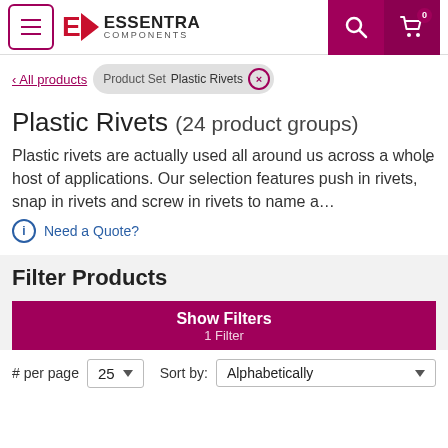Essentra Components — Navigation header with menu, logo, search, and cart
< All products | Product Set: Plastic Rivets ×
Plastic Rivets (24 product groups)
Plastic rivets are actually used all around us across a whole host of applications. Our selection features push in rivets, snap in rivets and screw in rivets to name a…
ⓘ Need a Quote?
Filter Products
Show Filters
1 Filter
# per page  25 ▼   Sort by:  Alphabetically ▼